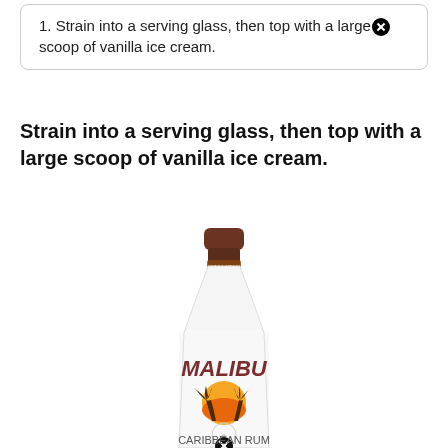1. Strain into a serving glass, then top with a large scoop of vanilla ice cream.
Strain into a serving glass, then top with a large scoop of vanilla ice cream.
[Figure (photo): A bottle of Malibu Caribbean Rum with coconut flavoring, white bottle with brown cap and tropical label showing MALIBU text and palm tree sunset logo.]